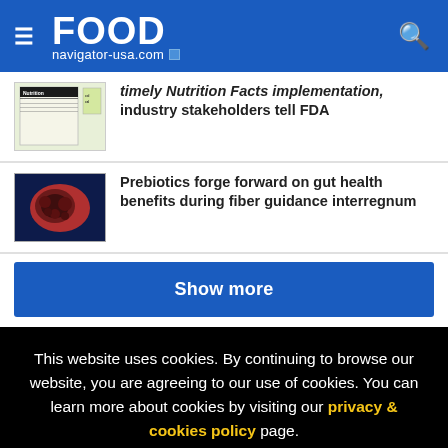FOOD navigator-usa.com
timely Nutrition Facts implementation, industry stakeholders tell FDA
Prebiotics forge forward on gut health benefits during fiber guidance interregnum
Show more
This website uses cookies. By continuing to browse our website, you are agreeing to our use of cookies. You can learn more about cookies by visiting our privacy & cookies policy page.
I Agree